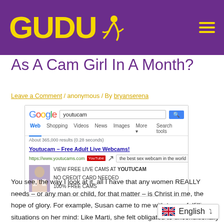GUDU [logo with runner icon]
As A Cam Girl In A Month?
Leave a Comment / anonymous / By bryanserena
[Figure (screenshot): Google search screenshot showing search for 'youtucam' with ad result for 'Youtucam – Free Adult Live Webcams!' and tooltip 'the best sex webcam in the world', with ad content: VIEW FREE LIVE CAMS AT YOUTUCAM, NO CREDIT CARD NEEDED, 100% FREE CAMS]
You see, the way I look at it, all I have that any women REALLY needs – or any man or child, for that matter – is Christ in me, the hope of glory. For example, Susan came to me with two unfulfilling situations on her mind: Like Marti, she felt obligated to unconditionally meet her partne...he